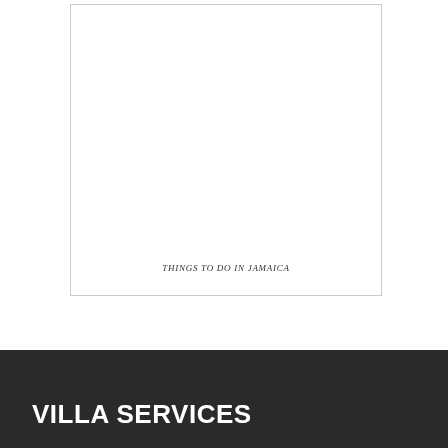[Figure (other): White bordered box representing a photo placeholder area for Things To Do In Jamaica]
THINGS TO DO IN JAMAICA
VILLA SERVICES